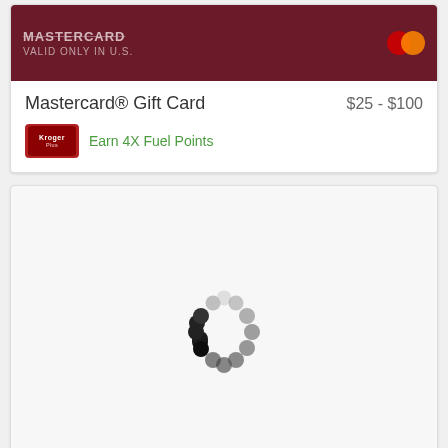[Figure (screenshot): Mastercard gift card product listing card with dark red background showing card image with 'VALID ONLY IN U.S.' text and Mastercard logo]
Mastercard® Gift Card
$25 - $100
Earn 4X Fuel Points
[Figure (other): Loading spinner animation showing circular arrangement of dots in varying shades from black to light gray]